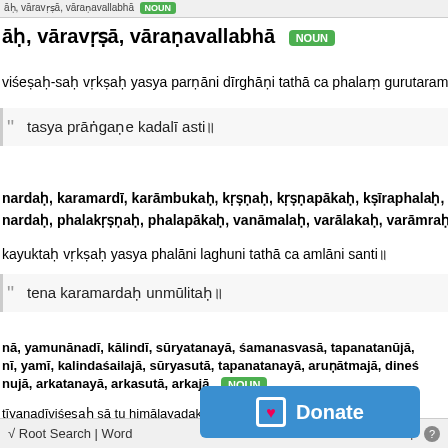āḥ, vāravṛṣā, vāraṇavallabhā NOUN
viśeṣaḥ-saḥ vṛkṣaḥ yasya parṇāni dīrghāṇi tathā ca phalaṃ gurutaram
tasya prāṅgaṇe kadalī asti॥
nardaḥ, karamardī, karāmbukaḥ, kṛṣṇaḥ, kṛṣṇapākaḥ, kṣīraphalaḥ, c
nardaḥ, phalakṛṣṇaḥ, phalapākaḥ, vanāmalaḥ, varālakaḥ, varāmraḥ,
kayuktaḥ vṛkṣaḥ yasya phalāni laghuni tathā ca amlāni santi॥
tena karamardaḥ unmūlitaḥ॥
nā, yamunānadī, kālindī, sūryatanayā, śamanasvasā, tapanatanūjā,
nī, yamī, kalindaśailajā, sūryasutā, tapanatanayā, aruṇātmajā, dineś
nujā, arkatanayā, arkasutā, arkajā NOUN
tīyanadīviśeṣaḥ sā tu himālayadakṣiṇades … āyā
[Figure (other): Donate button overlay with heart icon]
√ Root Search | Word    Help